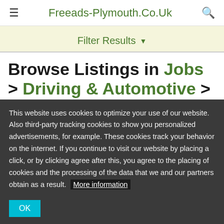≡  Freeads-Plymouth.Co.Uk  🔍
Filter Results ▼
Browse Listings in Jobs > Driving & Automotive > Drivers, Riders &
This website uses cookies to optimize your use of our website. Also third-party tracking cookies to show you personalized advertisements, for example. These cookies track your behavior on the internet. If you continue to visit our website by placing a click, or by clicking agree after this, you agree to the placing of cookies and the processing of the data that we and our partners obtain as a result. More information OK